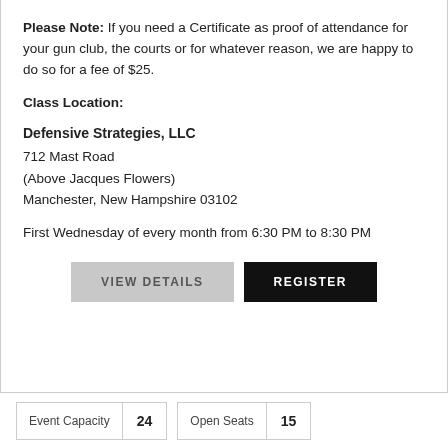Please Note: If you need a Certificate as proof of attendance for your gun club, the courts or for whatever reason, we are happy to do so for a fee of $25.
Class Location:
Defensive Strategies, LLC
712 Mast Road
(Above Jacques Flowers)
Manchester, New Hampshire 03102
First Wednesday of every month from 6:30 PM to 8:30 PM
VIEW DETAILS   REGISTER
Event Capacity 24   Open Seats 15